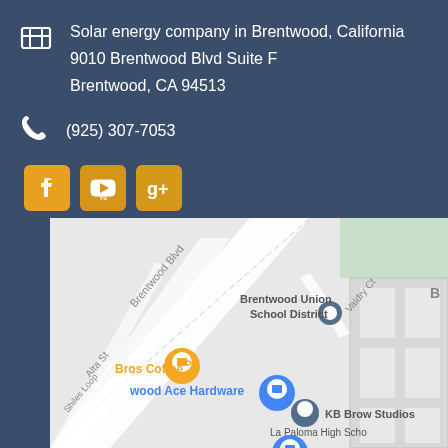Solar energy company in Brentwood, California
9010 Brentwood Blvd Suite F
Brentwood, CA 94513
(925) 307-7053
[Figure (screenshot): Social media icons: Facebook (yellow/orange), YouTube (yellow/orange), Google+ (yellow/orange)]
[Figure (map): Google Maps view showing Brentwood, CA area with markers for Bros Coffee, Brentwood Ace Hardware, Brentwood Union School District, KB Brow Studios, Mobile Solutions, La Paloma High School, Brentwood Police Department. Streets visible: Brentwood Blvd, Valdry Ct, Alta St, Shiles Loop, Alloro Ct.]